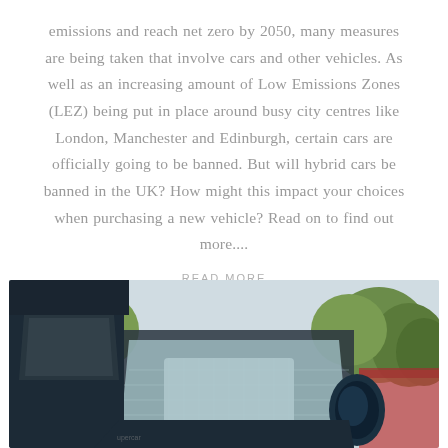emissions and reach net zero by 2050, many measures are being taken that involve cars and other vehicles. As well as an increasing amount of Low Emissions Zones (LEZ) being put in place around busy city centres like London, Manchester and Edinburgh, certain cars are officially going to be banned. But will hybrid cars be banned in the UK? How might this impact your choices when purchasing a new vehicle? Read on to find out more....
READ MORE
[Figure (photo): Close-up photo of the front windshield and side mirror of a car, with trees and a building visible in the background. The car has a teal/dark color. Sky is overcast.]